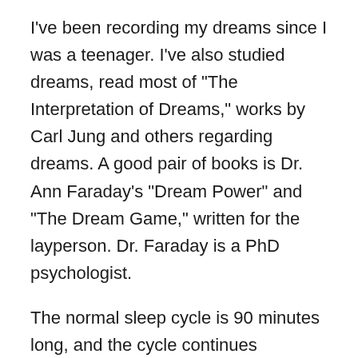I've been recording my dreams since I was a teenager. I've also studied dreams, read most of “The Interpretation of Dreams,” works by Carl Jung and others regarding dreams. A good pair of books is Dr. Ann Faraday’s “Dream Power” and “The Dream Game,” written for the layperson. Dr. Faraday is a PhD psychologist.
The normal sleep cycle is 90 minutes long, and the cycle continues throughout the night. By EEG recordings, the four stages of sleep show in cycles per second for each stage. Beta waves characterize the awakened person, but you also get beta waves while dreaming (REM) sleep. Alpha is slower than beta and shows up in relaxed, not necessarily sleeping, states, like